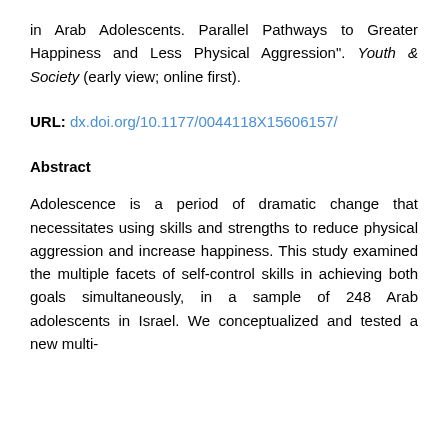in Arab Adolescents. Parallel Pathways to Greater Happiness and Less Physical Aggression". Youth & Society (early view; online first).
URL: dx.doi.org/10.1177/0044118X15606157/
Abstract
Adolescence is a period of dramatic change that necessitates using skills and strengths to reduce physical aggression and increase happiness. This study examined the multiple facets of self-control skills in achieving both goals simultaneously, in a sample of 248 Arab adolescents in Israel. We conceptualized and tested a new multi-